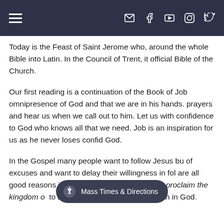Navigation header with hamburger menu and social/contact icons
Today is the Feast of Saint Jerome who, around the whole Bible into Latin. In the Council of Trent, it official Bible of the Church.
Our first reading is a continuation of the Book of Job, omnipresence of God and that we are in his hands. prayers and hear us when we call out to him. Let us with confidence to God who knows all that we need. Job is an inspiration for us as he never loses confidence in God.
In the Gospel many people want to follow Jesus but of excuses and want to delay their willingness in following. are all good reasons in the human mind but Jesus proclaim the kingdom of [Mass Times & Directions] Job, and we do not lose our faith in God.